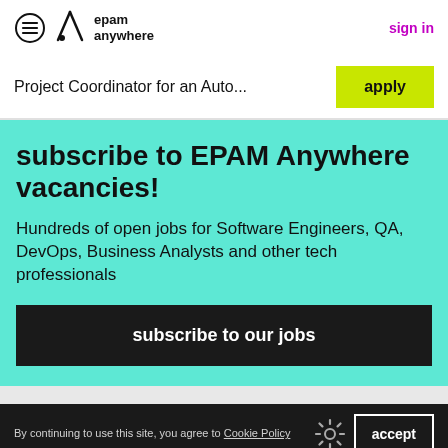epam anywhere | sign in
Project Coordinator for an Auto...
subscribe to EPAM Anywhere vacancies!
Hundreds of open jobs for Software Engineers, QA, DevOps, Business Analysts and other tech professionals
subscribe to our jobs
By continuing to use this site, you agree to Cookie Policy | accept